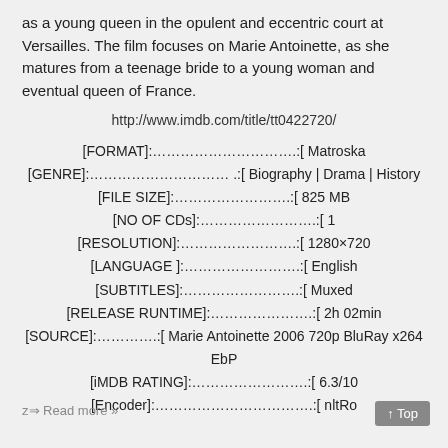as a young queen in the opulent and eccentric court at Versailles. The film focuses on Marie Antoinette, as she matures from a teenage bride to a young woman and eventual queen of France.
http://www.imdb.com/title/tt0422720/
[FORMAT]:………………………….:[ Matroska
[GENRE]:………………………… .:[ Biography | Drama | History
[FILE SIZE]:…………………….:[ 825 MB
[NO OF CDs]:…………………….:[ 1
[RESOLUTION]:…………………….:[ 1280×720
[LANGUAGE ]:…………………….:[ English
[SUBTITLES]:…………………….:[ Muxed
[RELEASE RUNTIME]:………………….:[ 2h 02min
[SOURCE]:………….:[ Marie Antoinette 2006 720p BluRay x264 EbP
[iMDB RATING]:…………………….:[ 6.3/10
[Encoder]:…………………………….:[ nltRo
z⇒ Read more »
↑ Top